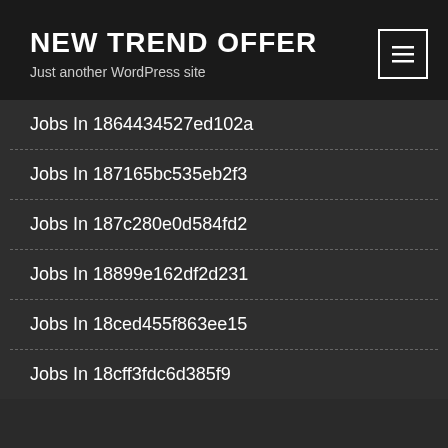NEW TREND OFFER
Just another WordPress site
Jobs In 1864434527ed102a
Jobs In 187165bc535eb2f3
Jobs In 187c280e0d584fd2
Jobs In 18899e162df2d231
Jobs In 18ced455f863ee15
Jobs In 18cff3fdc6d385f9